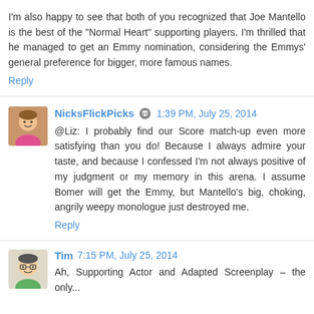I'm also happy to see that both of you recognized that Joe Mantello is the best of the "Normal Heart" supporting players. I'm thrilled that he managed to get an Emmy nomination, considering the Emmys' general preference for bigger, more famous names.
Reply
NicksFlickPicks  1:39 PM, July 25, 2014
@Liz: I probably find our Score match-up even more satisfying than you do! Because I always admire your taste, and because I confessed I'm not always positive of my judgment or my memory in this arena. I assume Bomer will get the Emmy, but Mantello's big, choking, angrily weepy monologue just destroyed me.
Reply
Tim  7:15 PM, July 25, 2014
Ah, Supporting Actor and Adapted Screenplay – the only...